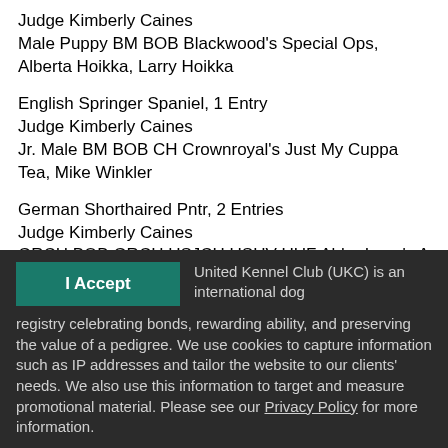Judge Kimberly Caines
Male Puppy BM BOB Blackwood's Special Ops, Alberta Hoikka, Larry Hoikka
English Springer Spaniel, 1 Entry
Judge Kimberly Caines
Jr. Male BM BOB CH Crownroyal's Just My Cuppa Tea, Mike Winkler
German Shorthaired Pntr, 2 Entries
Judge Kimberly Caines
GRCH BOB GRCH USJCH USUV UUF Abbe Lane's A Boy
United Kennel Club (UKC) is an international dog registry celebrating bonds, rewarding ability, and preserving the value of a pedigree. We use cookies to capture information such as IP addresses and tailor the website to our clients' needs. We also use this information to target and measure promotional material. Please see our Privacy Policy for more information.